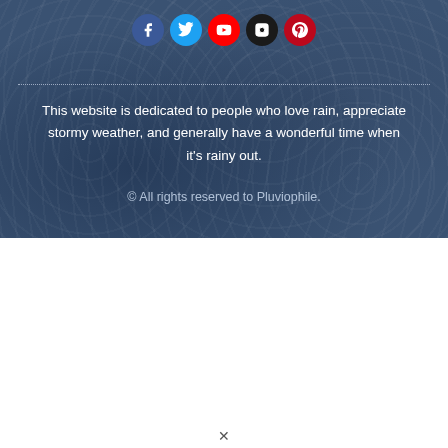[Figure (infographic): Row of five social media icon circles: Facebook (blue), Twitter (cyan), YouTube (red), Instagram (black), Pinterest (dark red)]
This website is dedicated to people who love rain, appreciate stormy weather, and generally have a wonderful time when it's rainy out.
© All rights reserved to Pluviophile.